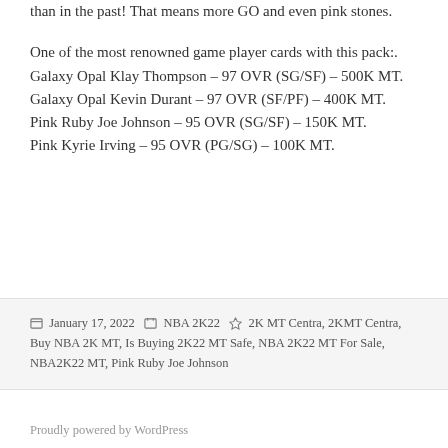...becoming more intense, it and even player cards than in the past! That means more GO and even pink stones.
One of the most renowned game player cards with this pack:.
Galaxy Opal Klay Thompson – 97 OVR (SG/SF) – 500K MT.
Galaxy Opal Kevin Durant – 97 OVR (SF/PF) – 400K MT.
Pink Ruby Joe Johnson – 95 OVR (SG/SF) – 150K MT.
Pink Kyrie Irving – 95 OVR (PG/SG) – 100K MT.
Posted January 17, 2022  Categories NBA 2K22  Tags 2K MT Centra, 2KMT Centra, Buy NBA 2K MT, Is Buying 2K22 MT Safe, NBA 2K22 MT For Sale, NBA2K22 MT, Pink Ruby Joe Johnson
Proudly powered by WordPress